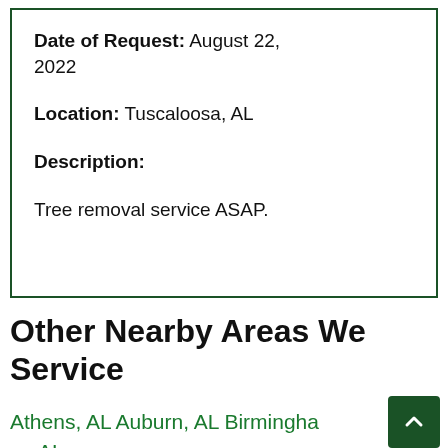Date of Request: August 22, 2022
Location: Tuscaloosa, AL
Description:
Tree removal service ASAP.
Other Nearby Areas We Service
Athens, AL Auburn, AL Birmingham, AL